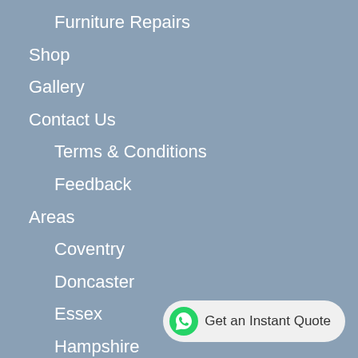Furniture Repairs
Shop
Gallery
Contact Us
Terms & Conditions
Feedback
Areas
Coventry
Doncaster
Essex
Hampshire
Hertfordshire
Hull
Preston
Nottingham
[Figure (other): WhatsApp Get an Instant Quote button in bottom right corner]